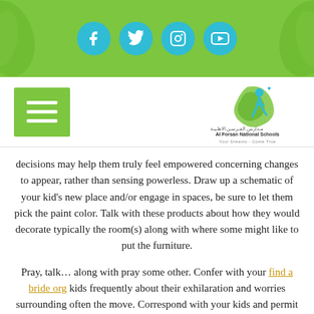[Figure (screenshot): Green header bar with four social media icons (Facebook, Twitter, Instagram, YouTube) in teal circles, decorative leaf shapes on left and right edges]
[Figure (logo): Al Forsan National Schools logo with blue figure, Arabic text, and tagline 'Your Dreams Come True']
decisions may help them truly feel empowered concerning changes to appear, rather than sensing powerless. Draw up a schematic of your kid's new place and/or engage in spaces, be sure to let them pick the paint color. Talk with these products about how they would decorate typically the room(s) along with where some might like to put the furniture.
Pray, talk… along with pray some other. Confer with your find a bride org kids frequently about their exhilaration and worries surrounding often the move. Correspond with your kids and permit them to get candid. When upset in relation to leaving friends, let them know you happen to be too. Hope with them of their fears. Various folks while in